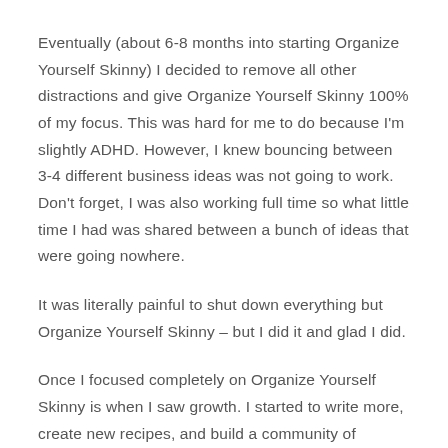Eventually (about 6-8 months into starting Organize Yourself Skinny) I decided to remove all other distractions and give Organize Yourself Skinny 100% of my focus. This was hard for me to do because I'm slightly ADHD. However, I knew bouncing between 3-4 different business ideas was not going to work. Don't forget, I was also working full time so what little time I had was shared between a bunch of ideas that were going nowhere.
It was literally painful to shut down everything but Organize Yourself Skinny – but I did it and glad I did.
Once I focused completely on Organize Yourself Skinny is when I saw growth. I started to write more, create new recipes, and build a community of readers. This is when